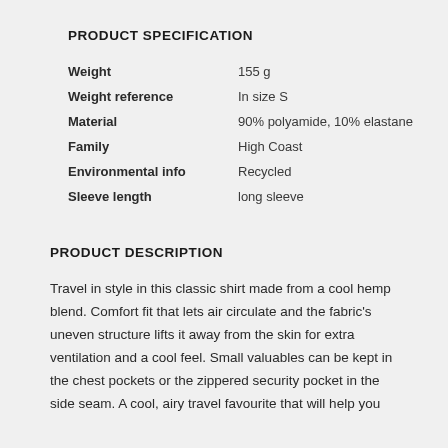PRODUCT SPECIFICATION
| Attribute | Value |
| --- | --- |
| Weight | 155 g |
| Weight reference | In size S |
| Material | 90% polyamide, 10% elastane |
| Family | High Coast |
| Environmental info | Recycled |
| Sleeve length | long sleeve |
PRODUCT DESCRIPTION
Travel in style in this classic shirt made from a cool hemp blend. Comfort fit that lets air circulate and the fabric's uneven structure lifts it away from the skin for extra ventilation and a cool feel. Small valuables can be kept in the chest pockets or the zippered security pocket in the side seam. A cool, airy travel favourite that will help you